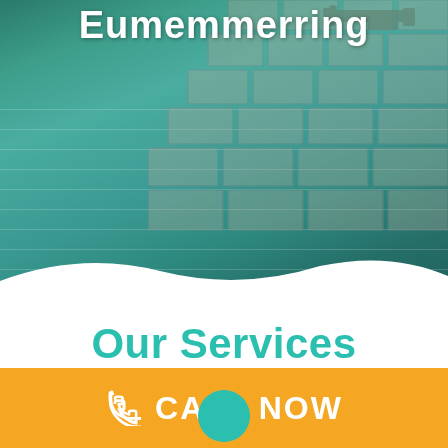[Figure (photo): Aerial/angled view of a luxury swimming pool with tiled stone deck and lounge chairs, teal water with light reflections]
Eumemmerring
Our Services
CALL NOW